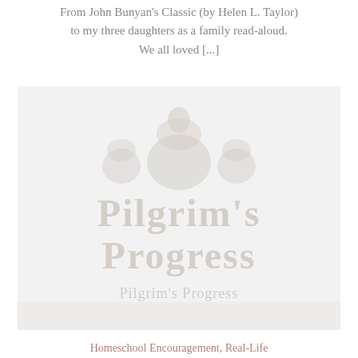From John Bunyan's Classic (by Helen L. Taylor) to my three daughters as a family read-aloud. We all loved [...]
[Figure (illustration): Book cover image, faded/watermarked, showing a pilgrim figure and title text 'Pilgrim's Progress' or similar, with subtitle text beneath, rendered in light gray tones on a light background]
Homeschool Encouragement, Real-Life